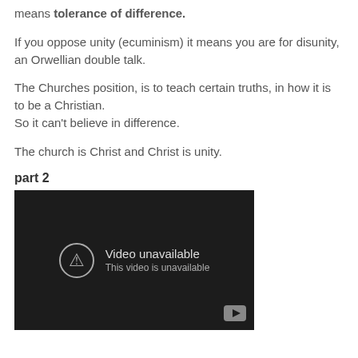means tolerance of difference.
If you oppose unity (ecuminism) it means you are for disunity, an Orwellian double talk.
The Churches position, is to teach certain truths, in how it is to be a Christian.
So it can't believe in difference.
The church is Christ and Christ is unity.
part 2
[Figure (screenshot): Embedded YouTube video player showing 'Video unavailable. This video is unavailable.' message on a dark background.]